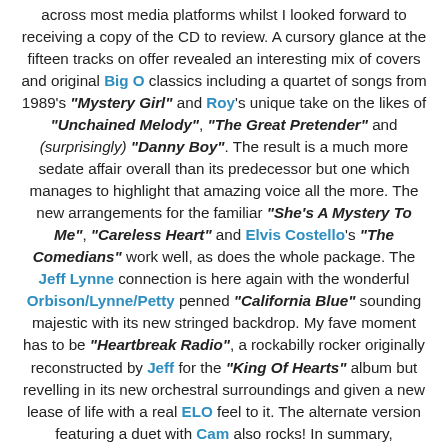across most media platforms whilst I looked forward to receiving a copy of the CD to review. A cursory glance at the fifteen tracks on offer revealed an interesting mix of covers and original Big O classics including a quartet of songs from 1989's "Mystery Girl" and Roy's unique take on the likes of "Unchained Melody", "The Great Pretender" and (surprisingly) "Danny Boy". The result is a much more sedate affair overall than its predecessor but one which manages to highlight that amazing voice all the more. The new arrangements for the familiar "She's A Mystery To Me", "Careless Heart" and Elvis Costello's "The Comedians" work well, as does the whole package. The Jeff Lynne connection is here again with the wonderful Orbison/Lynne/Petty penned "California Blue" sounding majestic with its new stringed backdrop. My fave moment has to be "Heartbreak Radio", a rockabilly rocker originally reconstructed by Jeff for the "King Of Hearts" album but revelling in its new orchestral surroundings and given a new lease of life with a real ELO feel to it. The alternate version featuring a duet with Cam also rocks! In summary, "Unchained Melodies" is the perfect sequel to "A Love So Beautiful" in that it manages to avoid being a